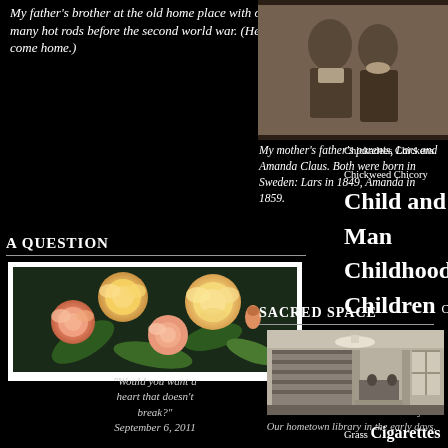My father's brother at the old home place with one of his many hot rods before the second world war. (He did not come home.)
A QUESTION
[Figure (photo): Photo of pink and yellow roses]
"Would you want a heart that doesn't break?" September 6, 2011
Charon Chaucer Chaucer's Bookstore Cheeseweed Chekhov Cherries Cherry Blossoms Chia Chickadees Chickens Chickweed Chicory Child and Man Childhood Children Chile Chimes Chimpanzees Chocolate Christmas Churches Churchyard Grass Cigarettes Cigars Circadian Rhythm Circles City Life Civilization Claggett Creek Claire Huchet Bishop Clarel Claude McKay Clay Clay Pots
[Figure (photo): Old sepia portrait photograph of a man and woman - Lars and Amanda Claus]
My mother's father's parents, Lars and Amanda Claus. Both were born in Sweden: Lars in 1849, Amanda in 1859.
SACRED SPACE
[Figure (photo): Black and white photo of hometown library in early days]
Our hometown library in the early days.